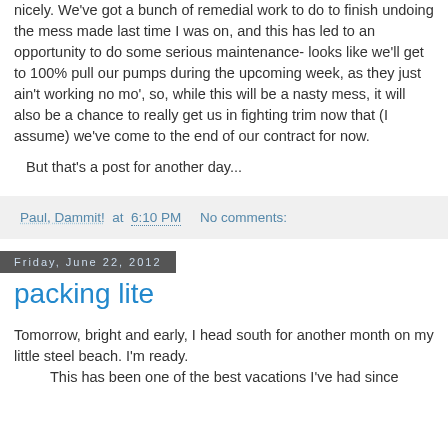nicely. We've got a bunch of remedial work to do to finish undoing the mess made last time I was on, and this has led to an opportunity to do some serious maintenance- looks like we'll get to 100% pull our pumps during the upcoming week, as they just ain't working no mo', so, while this will be a nasty mess, it will also be a chance to really get us in fighting trim now that (I assume) we've come to the end of our contract for now.
But that's a post for another day...
Paul, Dammit! at 6:10 PM    No comments:
Friday, June 22, 2012
packing lite
Tomorrow, bright and early, I head south for another month on my little steel beach. I'm ready.
This has been one of the best vacations I've had since